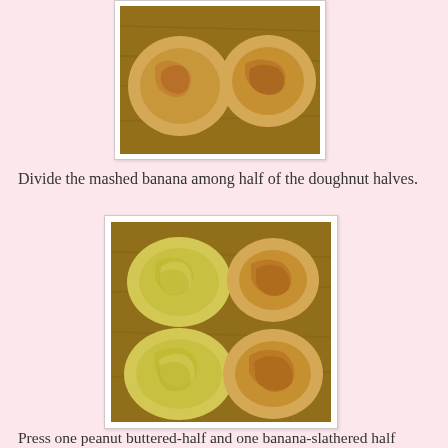[Figure (photo): Two doughnut halves spread with peanut butter, viewed from above on a wooden surface.]
Divide the mashed banana among half of the doughnut halves.
[Figure (photo): Four doughnut halves on a wooden surface: two topped with mashed banana and two spread with peanut butter.]
Press one peanut buttered-half and one banana-slathered half